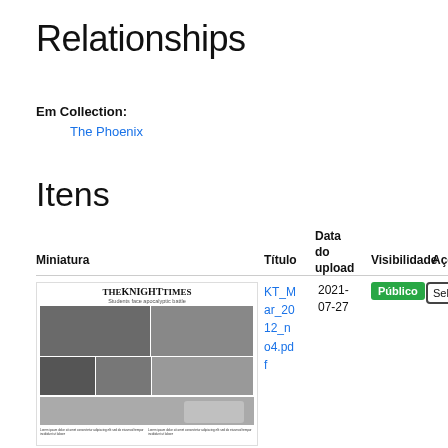Relationships
Em Collection:
The Phoenix
Itens
| Miniatura | Título | Data do upload | Visibilidade | Ações |
| --- | --- | --- | --- | --- |
| [thumbnail: The Knight Times newspaper] | KT_Mar_2012_no4.pdf | 2021-07-27 | Público | Seleci... |